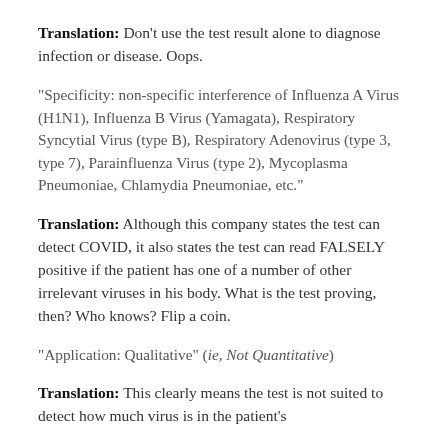Translation: Don’t use the test result alone to diagnose infection or disease. Oops.
“Specificity: non-specific interference of Influenza A Virus (H1N1), Influenza B Virus (Yamagata), Respiratory Syncytial Virus (type B), Respiratory Adenovirus (type 3, type 7), Parainfluenza Virus (type 2), Mycoplasma Pneumoniae, Chlamydia Pneumoniae, etc.”
Translation: Although this company states the test can detect COVID, it also states the test can read FALSELY positive if the patient has one of a number of other irrelevant viruses in his body. What is the test proving, then? Who knows? Flip a coin.
“Application: Qualitative” (ie, Not Quantitative)
Translation: This clearly means the test is not suited to detect how much virus is in the patient’s